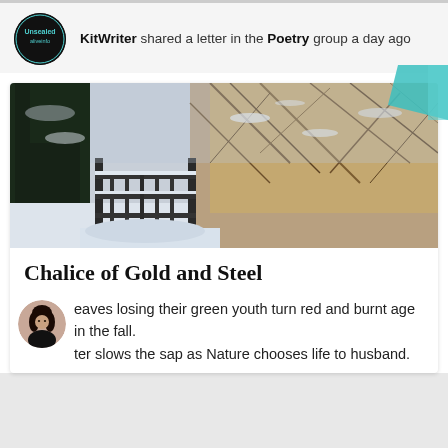KitWriter shared a letter in the Poetry group a day ago
[Figure (photo): Winter landscape with snow-covered iron gate and bare frost-laden branches, dark evergreen trees on left]
Chalice of Gold and Steel
eaves losing their green youth turn red and burnt age in the fall.
ter slows the sap as Nature chooses life to husband.